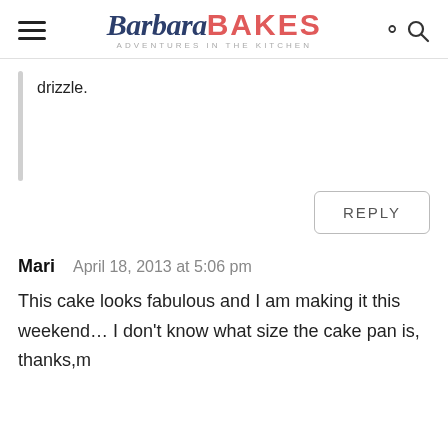Barbara BAKES — ADVENTURES in the KITCHEN
drizzle.
REPLY
Mari   April 18, 2013 at 5:06 pm
This cake looks fabulous and I am making it this weekend… I don't know what size the cake pan is, thanks,m